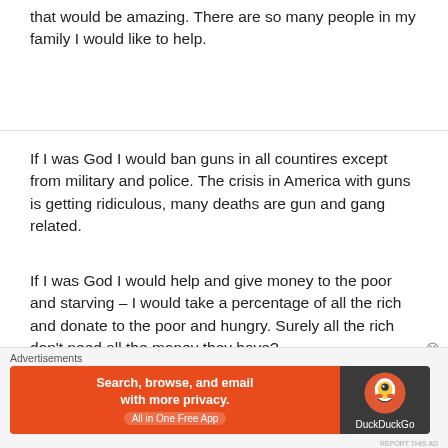that would be amazing. There are so many people in my family I would like to help.
If I was God I would ban guns in all countires except from military and police. The crisis in America with guns is getting ridiculous, many deaths are gun and gang related.
If I was God I would help and give money to the poor and starving – I would take a percentage of all the rich and donate to the poor and hungry. Surely all the rich don't need all the money they have?
[Figure (other): DuckDuckGo advertisement banner: orange left side with text 'Search, browse, and email with more privacy. All in One Free App', dark right side with DuckDuckGo logo and text]
Advertisements